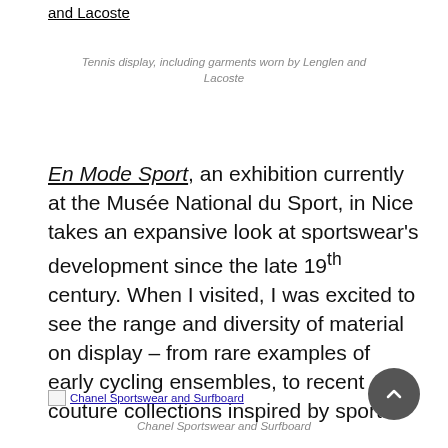and Lacoste
Tennis display, including garments worn by Lenglen and Lacoste
En Mode Sport, an exhibition currently at the Musée National du Sport, in Nice takes an expansive look at sportswear's development since the late 19th century. When I visited, I was excited to see the range and diversity of material on display – from rare examples of early cycling ensembles, to recent couture collections inspired by sport.
[Figure (photo): Chanel Sportswear and Surfboard image placeholder]
Chanel Sportswear and Surfboard